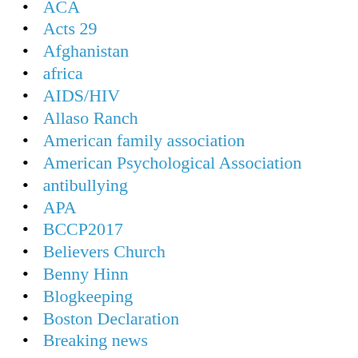ACA
Acts 29
Afghanistan
africa
AIDS/HIV
Allaso Ranch
American family association
American Psychological Association
antibullying
APA
BCCP2017
Believers Church
Benny Hinn
Blogkeeping
Boston Declaration
Breaking news